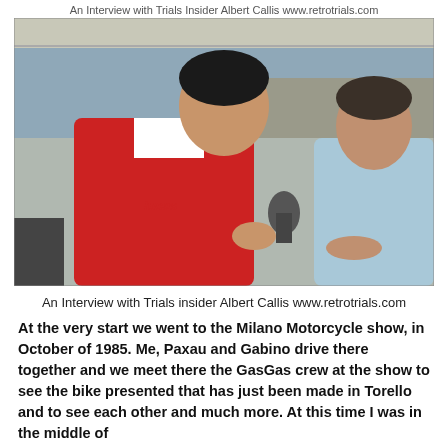An Interview with Trials Insider Albert Callis www.retrotrials.com
[Figure (photo): Two men in conversation. The man on the left wearing a red and white Lucas-branded jacket holds a microphone toward the man on the right who is wearing a light blue jacket. They appear to be on a boat or covered outdoor area with water and rocks visible in the background.]
An Interview with Trials insider Albert Callis www.retrotrials.com
At the very start we went to the Milano Motorcycle show, in October of 1985. Me, Paxau and Gabino drive there together and we meet there the GasGas crew at the show to see the bike presented that has just been made in Torello and to see each other and much more. At this time I was in the middle of